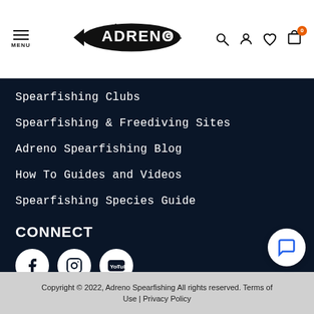[Figure (logo): Adreno spearfishing logo with fish icon and brand name in stylized text]
Spearfishing Clubs
Spearfishing & Freediving Sites
Adreno Spearfishing Blog
How To Guides and Videos
Spearfishing Species Guide
CONNECT
[Figure (infographic): Social media icons: Facebook, Instagram, YouTube in white circles on dark background]
Copyright © 2022, Adreno Spearfishing All rights reserved. Terms of Use | Privacy Policy